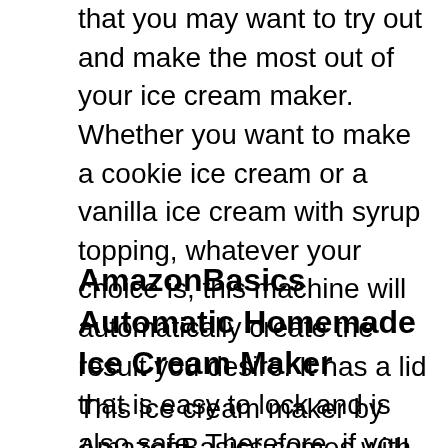that you may want to try out and make the most out of your ice cream maker. Whether you want to make a cookie ice cream or a vanilla ice cream with syrup topping, whatever your choice is, this machine will automatically create the result you desire. It has a lid that is easy to lock and is also safe. Therefore, if you love soft serves then this is the ice cream maker for you! Here is the product link https://www.amazon.com/Hamilton-Beach-68330N-Automatic-Ice-Cream/dp/B0009A0N4E/
AmazonBasics Automatic Homemade Ice Cream Maker
This ice cream maker by AmazonBasics comes with a 1.5 quart capacity and is sure to be your best friend if you love ice creams that are